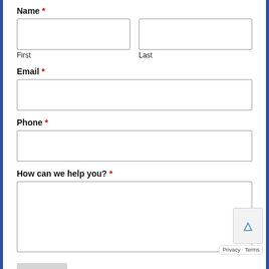Name *
First
Last
Email *
Phone *
How can we help you? *
Privacy · Terms